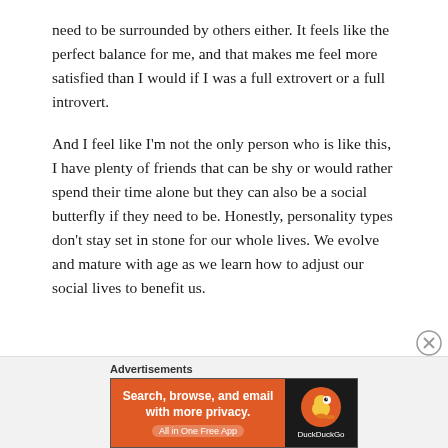need to be surrounded by others either. It feels like the perfect balance for me, and that makes me feel more satisfied than I would if I was a full extrovert or a full introvert.
And I feel like I'm not the only person who is like this, I have plenty of friends that can be shy or would rather spend their time alone but they can also be a social butterfly if they need to be. Honestly, personality types don't stay set in stone for our whole lives. We evolve and mature with age as we learn how to adjust our social lives to benefit us.
[Figure (other): Advertisement banner: DuckDuckGo ad with orange background on left showing 'Search, browse, and email with more privacy. All in One Free App' and dark right panel with DuckDuckGo duck logo.]